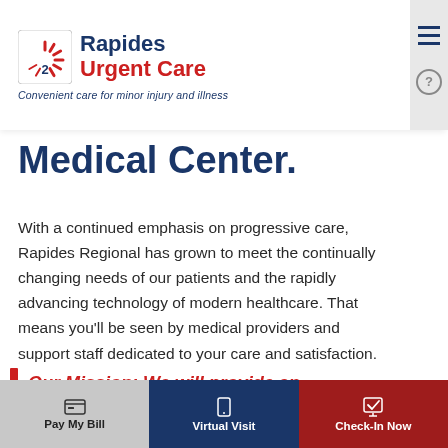[Figure (logo): Rapides Urgent Care logo with red fan icon, blue and red bold text, italic blue tagline 'Convenient care for minor injury and illness']
Medical Center.
With a continued emphasis on progressive care, Rapides Regional has grown to meet the continually changing needs of our patients and the rapidly advancing technology of modern healthcare. That means you'll be seen by medical providers and support staff dedicated to your care and satisfaction.
Our Mission: We will provide an
Pay My Bill | Virtual Visit | Check-In Now